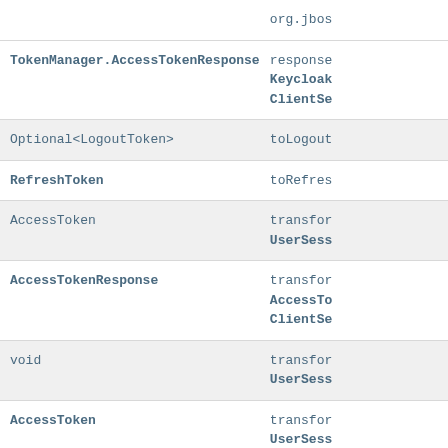| Type | Method |
| --- | --- |
| org.jbos |  |
| TokenManager.AccessTokenResponseBuilder | response
Keycloak
ClientSe |
| Optional<LogoutToken> | toLogout |
| RefreshToken | toRefres |
| AccessToken | transfor
UserSess |
| AccessTokenResponse | transfor
AccessTo
ClientSe |
| void | transfor
UserSess |
| AccessToken | transfor
UserSess |
| Stream<OIDCIdentityProvider> | validate
String e |
| TokenManager.TokenValidation | validate |